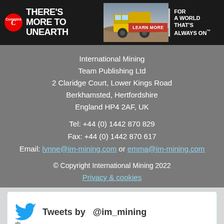[Figure (illustration): Cummins advertisement banner: dark background with Cummins logo on left, text 'THERE'S MORE TO UNEARTH', yellow mining truck in center, red 'LEARN MORE' button, right side reads 'FOR A WORLD THAT'S ALWAYS ON']
International Mining
Team Publishing Ltd
2 Claridge Court, Lower Kings Road
Berkhamsted, Hertfordshire
England HP4 2AF, UK
Tel: +44 (0) 1442 870 829
Fax: +44 (0) 1442 870 617
Email: lynne@im-mining.com or emma@im-mining.com
© Copyright International Mining 2022
Privacy & cookies
[Figure (screenshot): Twitter widget showing blue bird logo and text 'Tweets by @im_mining' with gear icon in bottom left]